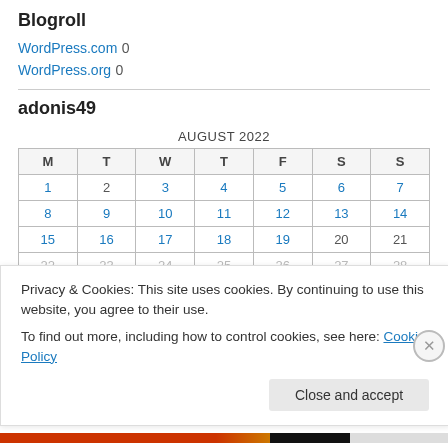Blogroll
WordPress.com 0
WordPress.org 0
adonis49
| M | T | W | T | F | S | S |
| --- | --- | --- | --- | --- | --- | --- |
| 1 | 2 | 3 | 4 | 5 | 6 | 7 |
| 8 | 9 | 10 | 11 | 12 | 13 | 14 |
| 15 | 16 | 17 | 18 | 19 | 20 | 21 |
| 22 | 23 | 24 | 25 | 26 | 27 | 28 |
Privacy & Cookies: This site uses cookies. By continuing to use this website, you agree to their use.
To find out more, including how to control cookies, see here: Cookie Policy